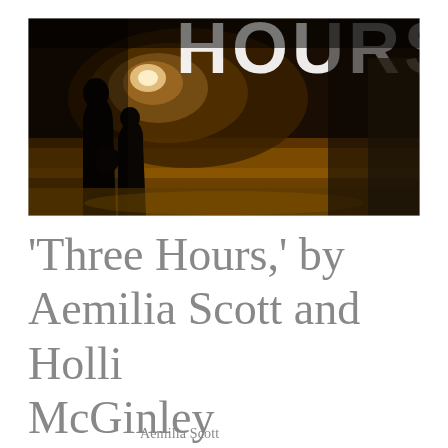[Figure (photo): Dark atmospheric photo showing silhouettes of figures on a street at night with warm amber/golden lighting. Large white text 'HOURS' visible in upper portion of image.]
'Three Hours,' by Aemilia Scott and Holli McGinley
Aemilia Scott